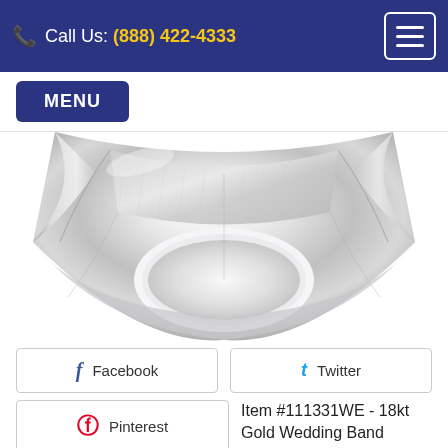Call Us: (888) 422-4333
MENU
[Figure (photo): Close-up product photo of an 18kt white gold wedding band with a brushed center stripe and polished edges, shown at an angle on a white background.]
Facebook
Twitter
Pinterest
Item #111331WE - 18kt Gold Wedding Band